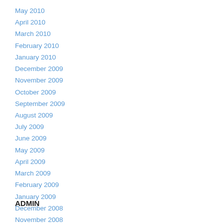May 2010
April 2010
March 2010
February 2010
January 2010
December 2009
November 2009
October 2009
September 2009
August 2009
July 2009
June 2009
May 2009
April 2009
March 2009
February 2009
January 2009
December 2008
November 2008
October 2008
September 2008
August 2008
July 2008
June 2008
ADMIN